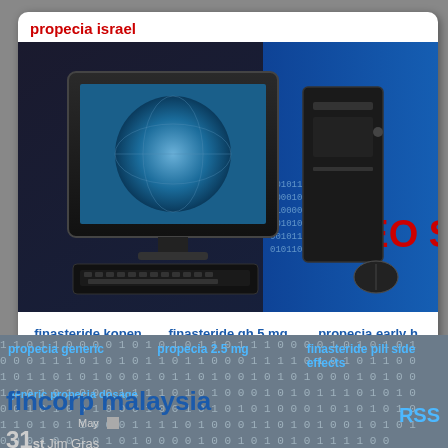propecia israel
[Figure (illustration): Banner image showing a computer monitor with a globe on the screen, a desktop tower, a keyboard, and blue binary code background with text 'SEO S...' in red on the right side]
finasteride kopen belgie   finasteride gh 5 mg   propecia early h
propecia generic   propecia 2.5 mg   finasteride pill side effects
generic propecia dosage   RSS
fincorp malaysia
May
31st Jim Gras